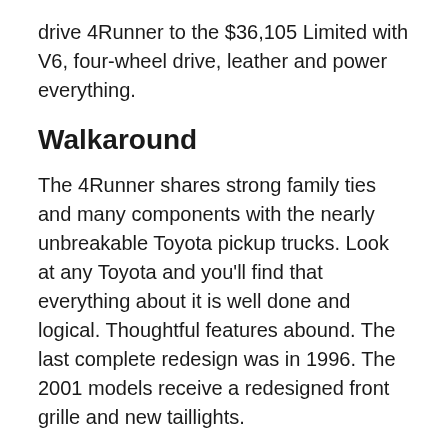drive 4Runner to the $36,105 Limited with V6, four-wheel drive, leather and power everything.
Walkaround
The 4Runner shares strong family ties and many components with the nearly unbreakable Toyota pickup trucks. Look at any Toyota and you'll find that everything about it is well done and logical. Thoughtful features abound. The last complete redesign was in 1996. The 2001 models receive a redesigned front grille and new taillights.
The 3.4-liter twin-cam V6 is a sweetheart, delivering 183 horsepower and 217 pound-feet of torque, which allows towing trailers up to 5000 pounds. Expect fuel economy to be around 16/19 mpg city/highway for four-wheel drive models;